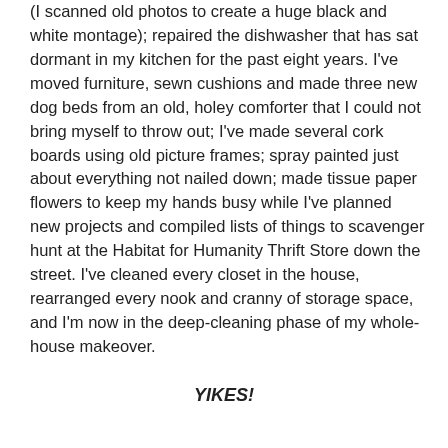(I scanned old photos to create a huge black and white montage); repaired the dishwasher that has sat dormant in my kitchen for the past eight years. I've moved furniture, sewn cushions and made three new dog beds from an old, holey comforter that I could not bring myself to throw out; I've made several cork boards using old picture frames; spray painted just about everything not nailed down; made tissue paper flowers to keep my hands busy while I've planned new projects and compiled lists of things to scavenger hunt at the Habitat for Humanity Thrift Store down the street. I've cleaned every closet in the house, rearranged every nook and cranny of storage space, and I'm now in the deep-cleaning phase of my whole-house makeover.
YIKES!